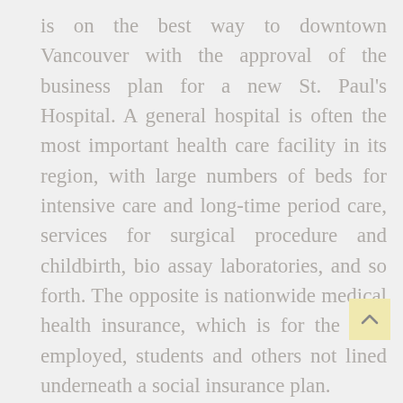is on the best way to downtown Vancouver with the approval of the business plan for a new St. Paul's Hospital. A general hospital is often the most important health care facility in its region, with large numbers of beds for intensive care and long-time period care, services for surgical procedure and childbirth, bio assay laboratories, and so forth. The opposite is nationwide medical health insurance, which is for the self-employed, students and others not lined underneath a social insurance plan.

Some teams ask their members to p hospitals and docs to write off their payments moderately than use members' money to pay